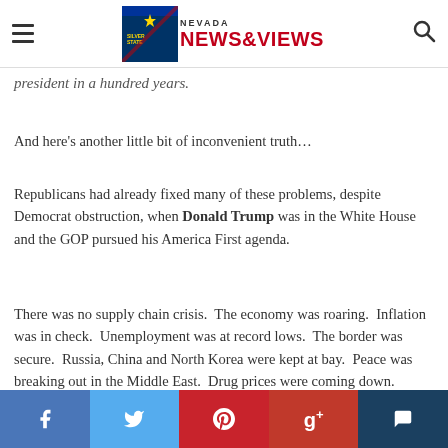Nevada News & Views
president in a hundred years.
And here’s another little bit of inconvenient truth…
Republicans had already fixed many of these problems, despite Democrat obstruction, when Donald Trump was in the White House and the GOP pursued his America First agenda.
There was no supply chain crisis.  The economy was roaring.  Inflation was in check.  Unemployment was at record lows.  The border was secure.  Russia, China and North Korea were kept at bay.  Peace was breaking out in the Middle East.  Drug prices were coming down.
Social share buttons: Facebook, Twitter, Pinterest, Google+, Comments